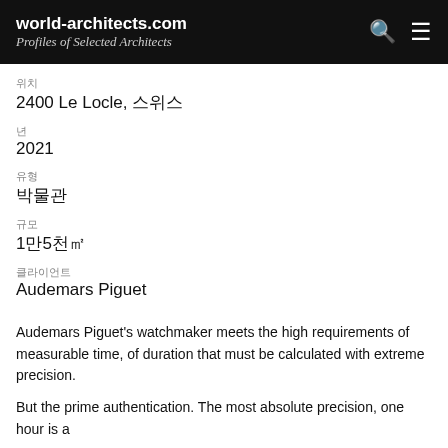world-architects.com Profiles of Selected Architects
위치
2400 Le Locle, 스위스
년
2021
유형
박물관
규모
1만5천㎡
클라이언트
Audemars Piguet
Audemars Piguet's watchmaker meets the high requirements of measurable time, of duration that must be calculated with extreme precision.
But the prime authentication. The most absolute precision, one hour is a